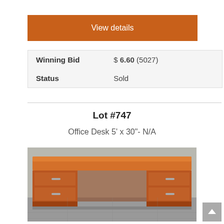View details
| Winning Bid | $ 6.60 (5027) |
| Status | Sold |
Lot #747
Office Desk 5' x 30"- N/A
[Figure (photo): Photo of a wooden office desk with drawers on both sides, sitting on a sidewalk/pavement]